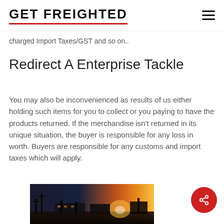GET FREIGHTED
charged Import Taxes/GST and so on..
Redirect A Enterprise Tackle
You may also be inconvenienced as results of us either holding such items for you to collect or you paying to have the products returned. If the merchandise isn’t returned in its unique situation, the buyer is responsible for any loss in worth. Buyers are responsible for any customs and import taxes which will apply.
[Figure (photo): A warehouse or freight terminal interior photographed against a bright sunset/sunrise, showing silhouettes of structures with orange and golden light.]